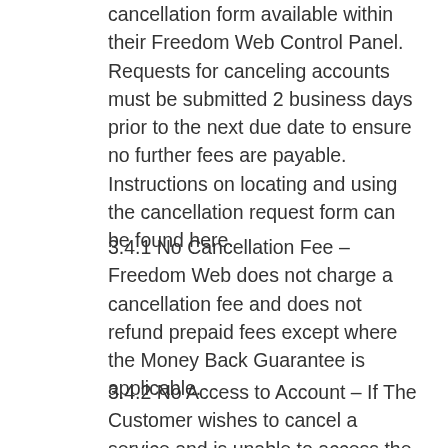cancellation form available within their Freedom Web Control Panel. Requests for canceling accounts must be submitted 2 business days prior to the next due date to ensure no further fees are payable. Instructions on locating and using the cancellation request form can be found here.
3.4.1 No Cancellation Fee – Freedom Web does not charge a cancellation fee and does not refund prepaid fees except where the Money Back Guarantee is applicable.
3.4.2 No Access to Account – If The Customer wishes to cancel a service and is unable to access the Freedom Web Control Panel for any reason, The Customer must make